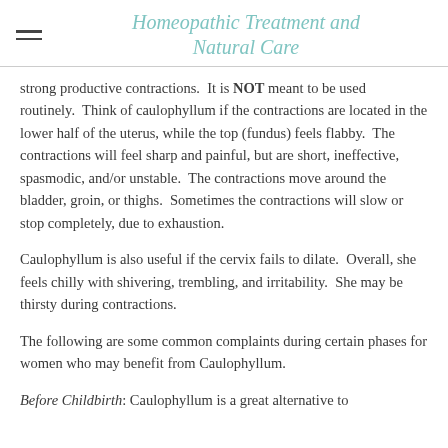Homeopathic Treatment and Natural Care
strong productive contractions.  It is NOT meant to be used routinely.  Think of caulophyllum if the contractions are located in the lower half of the uterus, while the top (fundus) feels flabby.  The contractions will feel sharp and painful, but are short, ineffective, spasmodic, and/or unstable.  The contractions move around the bladder, groin, or thighs.  Sometimes the contractions will slow or stop completely, due to exhaustion.
Caulophyllum is also useful if the cervix fails to dilate.  Overall, she feels chilly with shivering, trembling, and irritability.  She may be thirsty during contractions.
The following are some common complaints during certain phases for women who may benefit from Caulophyllum.
Before Childbirth: Caulophyllum is a great alternative to